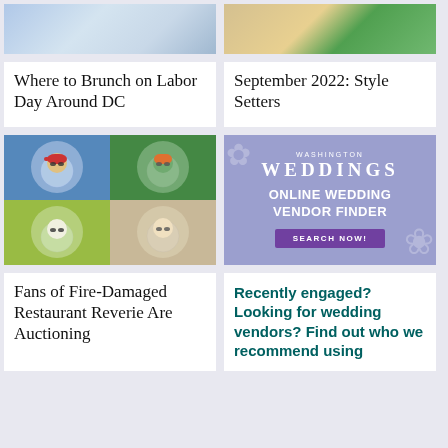[Figure (photo): Top portion of a brunch/food article header image showing abstract blue/gray tones]
Where to Brunch on Labor Day Around DC
[Figure (photo): Top portion of style article header image with green and warm tones]
September 2022: Style Setters
[Figure (illustration): Grid of four NFT-style cartoon characters in bubble helmets: red hat character on blue background, green alien on dark green, Snoopy-like on yellow-green, chicken on tan]
Fans of Fire-Damaged Restaurant Reverie Are Auctioning
[Figure (infographic): Washington Weddings Online Wedding Vendor Finder advertisement with purple background and floral decorations]
Recently engaged? Looking for wedding vendors? Find out who we recommend using